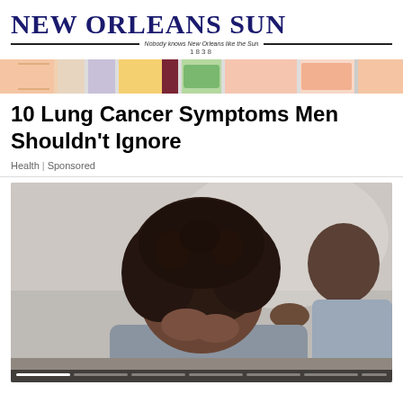NEW ORLEANS SUN — Nobody knows New Orleans like the Sun — 1838
[Figure (illustration): Colorful decorative banner strip with illustrated figures in pastel colors]
10 Lung Cancer Symptoms Men Shouldn't Ignore
Health | Sponsored
[Figure (photo): A person with curly hair bowing their head with hands on their head, appearing distressed, while another person places a comforting hand on their shoulder. Both appear to be Black individuals. The background is blurred and light-colored.]